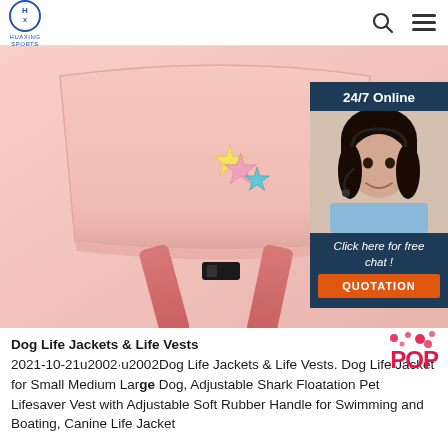[Figure (logo): Huaxing Sports circular logo with text below]
[Figure (photo): Pink dog life jacket/vest with star decorations and pink straps, shown against light background. Overlay widget in top-right: dark navy background with '24/7 Online' text, photo of female customer service agent with headset, 'Click here for free chat!' italic text, and orange QUOTATION button.]
Dog Life Jackets & Life Vests 2021-10-21u2002·u2002Dog Life Jackets & Life Vests. Dog Life Jacket for Small Medium Large Dog, Adjustable Shark Floatation Pet Lifesaver Vest with Adjustable Soft Rubber Handle for Swimming and Boating, Canine Life Jacket